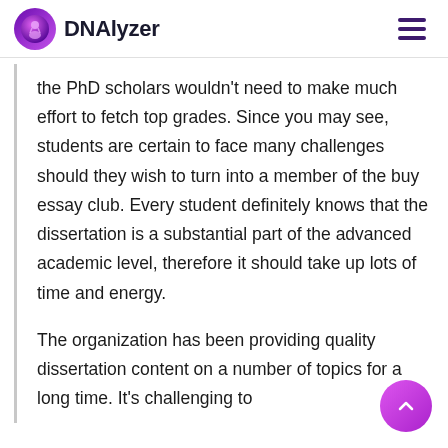DNAlyzer
the PhD scholars wouldn't need to make much effort to fetch top grades. Since you may see, students are certain to face many challenges should they wish to turn into a member of the buy essay club. Every student definitely knows that the dissertation is a substantial part of the advanced academic level, therefore it should take up lots of time and energy.
The organization has been providing quality dissertation content on a number of topics for a long time. It's challenging to